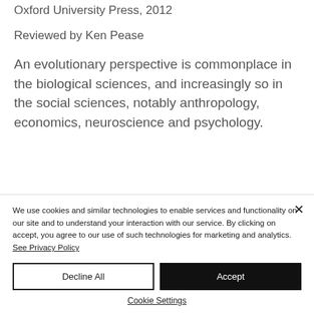Oxford University Press, 2012
Reviewed by Ken Pease
An evolutionary perspective is commonplace in the biological sciences, and increasingly so in the social sciences, notably anthropology, economics, neuroscience and psychology.
We use cookies and similar technologies to enable services and functionality on our site and to understand your interaction with our service. By clicking on accept, you agree to our use of such technologies for marketing and analytics. See Privacy Policy
Decline All
Accept
Cookie Settings